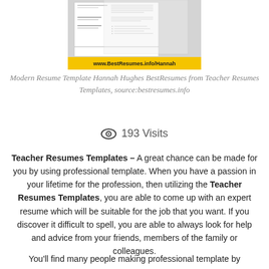[Figure (screenshot): Thumbnail of a modern resume template for Hannah Hughes from BestResumes.info, with a yellow banner showing www.BestResumes.info/Hannah]
Modern Resume Template Hannah Hughes BestResumes from Teacher Resumes Templates, source:bestresumes.info
193 Visits
Teacher Resumes Templates – A great chance can be made for you by using professional template. When you have a passion in your lifetime for the profession, then utilizing the Teacher Resumes Templates, you are able to come up with an expert resume which will be suitable for the job that you want. If you discover it difficult to spell, you are able to always look for help and advice from your friends, members of the family or colleagues.
You'll find many people making professional template by